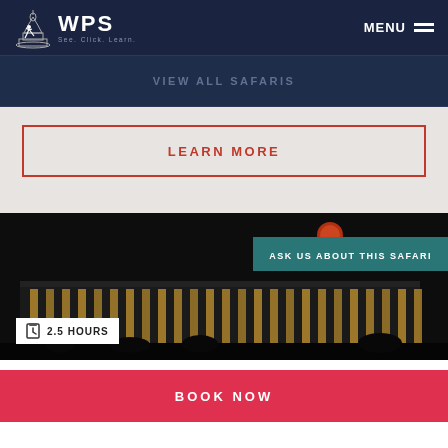[Figure (logo): WPS (Washington Photo Safari) logo with capitol building icon and text 'See. Click. Learn.']
MENU
VIEW ALL SAFARIS
LEARN MORE
[Figure (photo): Night photo of the Kennedy Center or similar illuminated building with red moon visible in dark sky. Banner overlay: 'ASK US ABOUT THIS SAFARI'. Badge overlay: '2.5 HOURS' with hourglass icon.]
BOOK NOW